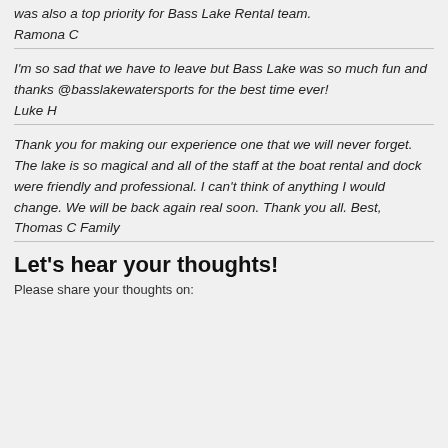was also a top priority for Bass Lake Rental team.
Ramona C
I'm so sad that we have to leave but Bass Lake was so much fun and thanks @basslakewatersports for the best time ever!
Luke H
Thank you for making our experience one that we will never forget. The lake is so magical and all of the staff at the boat rental and dock were friendly and professional. I can't think of anything I would change. We will be back again real soon. Thank you all. Best,
Thomas C Family
Let's hear your thoughts!
Please share your thoughts on: